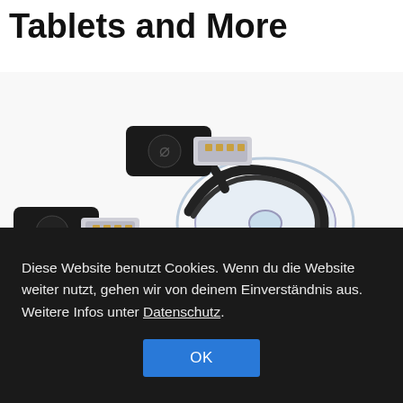Tablets and More
[Figure (photo): Two USB Type-A connectors with black rubber housings and USB symbol, connected to a transparent retractable cable spool. White background.]
Diese Website benutzt Cookies. Wenn du die Website weiter nutzt, gehen wir von deinem Einverständnis aus. Weitere Infos unter Datenschutz.